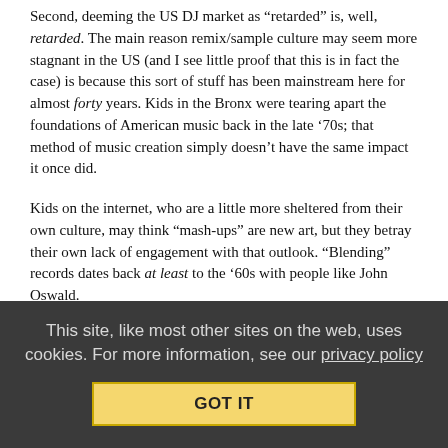Second, deeming the US DJ market as “retarded” is, well, retarded. The main reason remix/sample culture may seem more stagnant in the US (and I see little proof that this is in fact the case) is because this sort of stuff has been mainstream here for almost forty years. Kids in the Bronx were tearing apart the foundations of American music back in the late ’70s; that method of music creation simply doesn’t have the same impact it once did.
Kids on the internet, who are a little more sheltered from their own culture, may think “mash-ups” are new art, but they betray their own lack of engagement with that outlook. “Blending” records dates back at least to the ’60s with people like John Oswald.
But seriously, comparing our scene with Turkey?! I know Turkish DJs who would knee-walk across glass to get a shot at the US
This site, like most other sites on the web, uses cookies. For more information, see our privacy policy
GOT IT